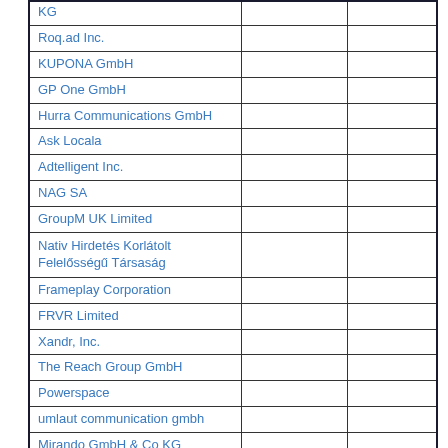| KG |  |  |
| Roq.ad Inc. |  |  |
| KUPONA GmbH |  |  |
| GP One GmbH |  |  |
| Hurra Communications GmbH |  |  |
| Ask Locala |  |  |
| Adtelligent Inc. |  |  |
| NAG SA |  |  |
| GroupM UK Limited |  |  |
| Nativ Hirdetés Korlátolt Felelősségű Társaság |  |  |
| Frameplay Corporation |  |  |
| FRVR Limited |  |  |
| Xandr, Inc. |  |  |
| The Reach Group GmbH |  |  |
| Powerspace |  |  |
| umlaut communication gmbh |  |  |
| Mirando GmbH & Co KG |  |  |
| Hybrid Adtech GmbH |  |  |
| Programatica de publicidad S.L. |  |  |
| ... |  |  |